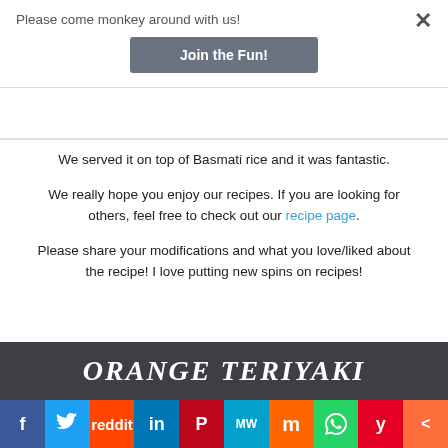Please come monkey around with us!
Join the Fun!
We served it on top of Basmati rice and it was fantastic.
We really hope you enjoy our recipes. If you are looking for others, feel free to check out our recipe page.
Please share your modifications and what you love/liked about the recipe! I love putting new spins on recipes!
[Figure (screenshot): Orange Teriyaki banner image with white bold italic text on dark gray background]
[Figure (infographic): Social sharing bar with icons for Facebook, Twitter, Reddit, LinkedIn, Pinterest, MeWe, Mix, WhatsApp, Yummly, and Share]